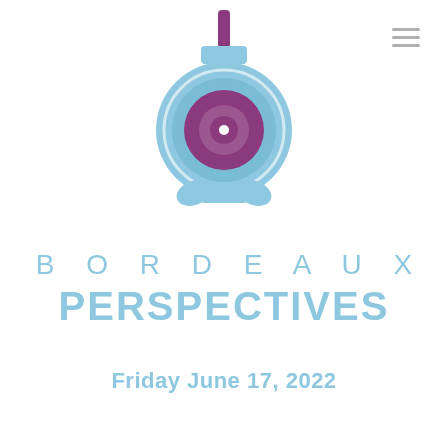[Figure (logo): Bordeaux Perspectives logo: a lantern/camera-like icon in light blue with a purple/magenta center circle and top element, resembling a stylized eye or lens within an alarm-clock-shaped body]
BORDEAUX PERSPECTIVES
Friday June 17, 2022